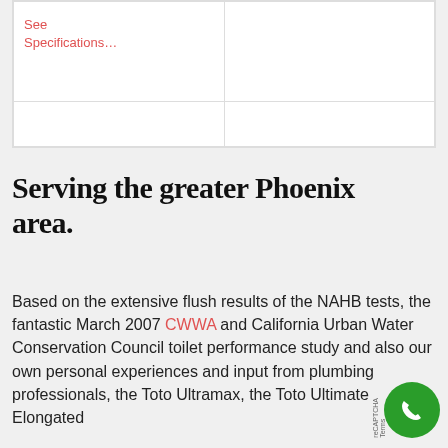| See Specifications… |  |
|  |  |
Serving the greater Phoenix area.
Based on the extensive flush results of the NAHB tests, the fantastic March 2007 CWWA and California Urban Water Conservation Council toilet performance study and also our own personal experiences and input from plumbing professionals, the Toto Ultramax, the Toto Ultimate Elongated